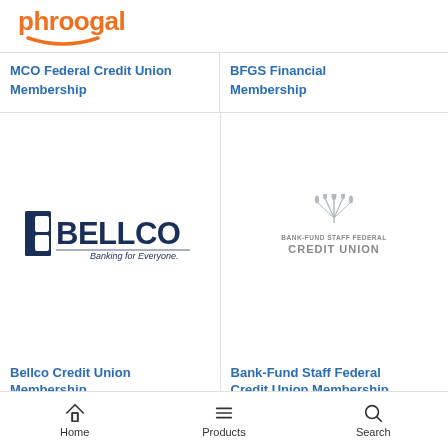phroogal
MCO Federal Credit Union Membership
BFGS Financial Membership
[Figure (logo): Bellco Credit Union logo — BELLCO Banking for Everyone.]
Bellco Credit Union Membership
[Figure (logo): Bank-Fund Staff Federal Credit Union logo with wheat/leaf emblem]
Bank-Fund Staff Federal Credit Union Membership
Home   Products   Search